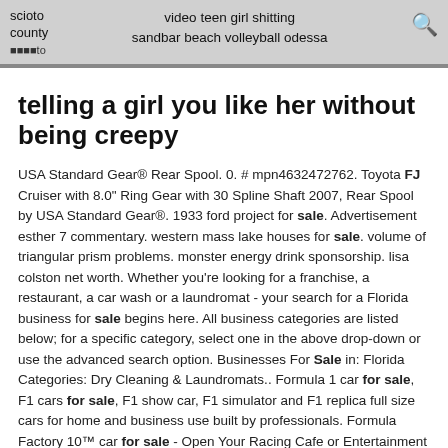scioto county [logo] | video teen girl shitting sandbar beach volleyball odessa [search icon]
telling a girl you like her without being creepy
USA Standard Gear® Rear Spool. 0. # mpn4632472762. Toyota FJ Cruiser with 8.0" Ring Gear with 30 Spline Shaft 2007, Rear Spool by USA Standard Gear®. 1933 ford project for sale. Advertisement esther 7 commentary. western mass lake houses for sale. volume of triangular prism problems. monster energy drink sponsorship. lisa colston net worth. Whether you're looking for a franchise, a restaurant, a car wash or a laundromat - your search for a Florida business for sale begins here. All business categories are listed below; for a specific category, select one in the above drop-down or use the advanced search option. Businesses For Sale in: Florida Categories: Dry Cleaning & Laundromats.. Formula 1 car for sale, F1 cars for sale, F1 show car, F1 simulator and F1 replica full size cars for home and business use built by professionals. Formula Factory 10™ car for sale - Open Your Racing Cafe or Entertainment Center… • Our prices and quality are the best in this industry and you can make money on the FF10™Showcar™ in. Vesaro is a British Design and